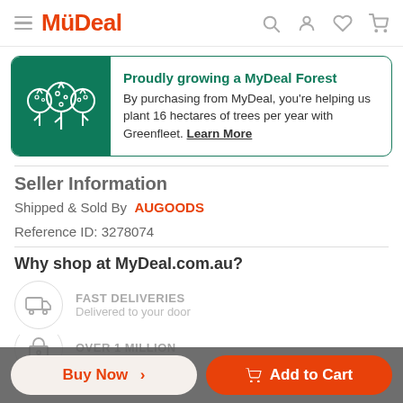MyDeal
[Figure (infographic): Proudly growing a MyDeal Forest banner with tree icons on green background. Text: 'Proudly growing a MyDeal Forest. By purchasing from MyDeal, you're helping us plant 16 hectares of trees per year with Greenfleet. Learn More']
Seller Information
Shipped & Sold By  AUGOODS
Reference ID: 3278074
Why shop at MyDeal.com.au?
FAST DELIVERIES
Delivered to your door
OVER 1 MILLION
Buy Now >  🛒 Add to Cart